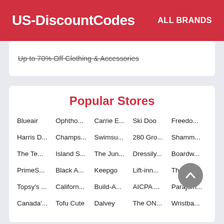US-DiscountCodes   ALL BRANDS
Up to 70% Off Clothing & Accessories
Popular Stores
Blueair
Ophtho...
Carrie E...
Ski Doo
Freedo...
Harris D...
Champs...
Swimsu...
280 Gro...
Shamm...
The Te...
Island S...
The Jun...
Dressily...
Boardw...
PrimeS...
Black A...
Keepgo
Lift-inn...
Thomas...
Topsy's ...
Californ...
Build-A...
AICPA ...
Parajum...
Canada'...
Tofu Cute
Dalvey
The ON...
Wristba...